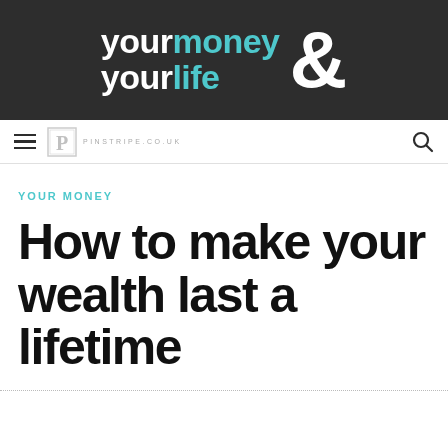[Figure (logo): Your Money & Your Life logo on dark background. 'your' and 'your' in white bold lowercase, 'money' and 'life' in teal bold lowercase, large white ampersand symbol.]
Pinstripe.co.uk navigation bar with hamburger menu and search icon
YOUR MONEY
How to make your wealth last a lifetime